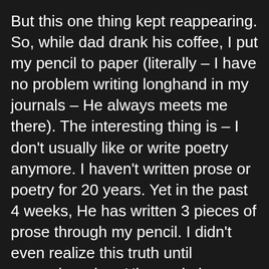But this one thing kept reappearing. So, while dad drank his coffee, I put my pencil to paper (literally – I have no problem writing longhand in my journals – He always meets me there). The interesting thing is – I don't usually like or write poetry anymore. I haven't written prose or poetry for 20 years. Yet in the past 4 weeks, He has written 3 pieces of prose through my pencil. I didn't even realize this truth until yesterday when His revelation unfolded in prose.
Morning after morning - when I gaze upon this natural occurrence – a supernatural moment in an ordinary 'mundane' occurrence, I will give thanks for His Light. His words anchor